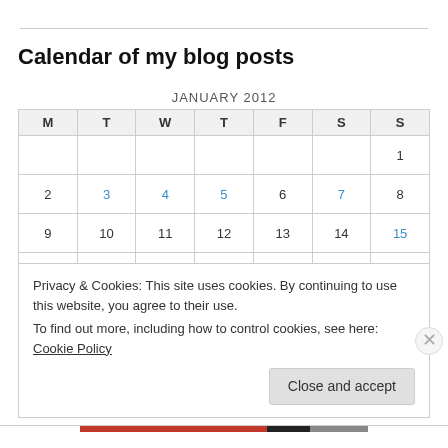Calendar of my blog posts
| M | T | W | T | F | S | S |
| --- | --- | --- | --- | --- | --- | --- |
|  |  |  |  |  |  | 1 |
| 2 | 3 | 4 | 5 | 6 | 7 | 8 |
| 9 | 10 | 11 | 12 | 13 | 14 | 15 |
| 16 | 17 | 18 | 19 | 20 | 21 | 22 |
| 23 | 24 | 25 | 26 | 27 | 28 | 29 |
| 30 | 31 |  |  |  |  |  |
Privacy & Cookies: This site uses cookies. By continuing to use this website, you agree to their use.
To find out more, including how to control cookies, see here: Cookie Policy
Close and accept